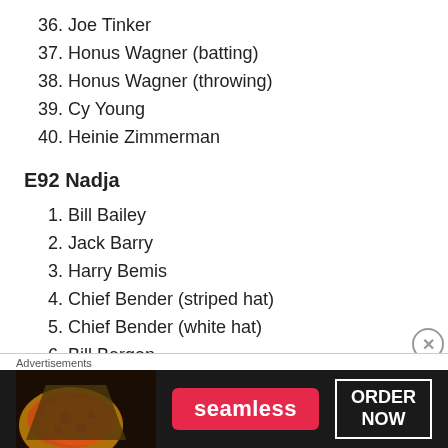36. Joe Tinker
37. Honus Wagner (batting)
38. Honus Wagner (throwing)
39. Cy Young
40. Heinie Zimmerman
E92 Nadja
1. Bill Bailey
2. Jack Barry
3. Harry Bemis
4. Chief Bender (striped hat)
5. Chief Bender (white hat)
6. Bill Bergen
[Figure (other): Seamless advertisement banner with pizza image, 'seamless' red button, and 'ORDER NOW' box on dark background]